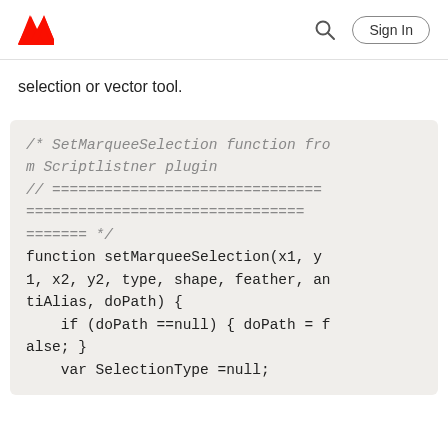Adobe (logo) | Search | Sign In
selection or vector tool.
[Figure (screenshot): Code block showing SetMarqueeSelection function comment and function definition: /* SetMarqueeSelection function from Scriptlistner plugin // ======================================== ======================================== ======= */ function setMarqueeSelection(x1, y1, x2, y2, type, shape, feather, antiAlias, doPath) {     if (doPath ==null) { doPath = false; }     var SelectionType =null;]